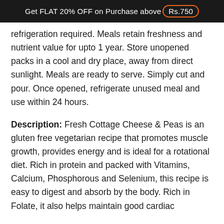Get FLAT 20% OFF on Purchase above Rs.750
refrigeration required. Meals retain freshness and nutrient value for upto 1 year. Store unopened packs in a cool and dry place, away from direct sunlight. Meals are ready to serve. Simply cut and pour. Once opened, refrigerate unused meal and use within 24 hours.
Description: Fresh Cottage Cheese & Peas is an gluten free vegetarian recipe that promotes muscle growth, provides energy and is ideal for a rotational diet. Rich in protein and packed with Vitamins, Calcium, Phosphorous and Selenium, this recipe is easy to digest and absorb by the body. Rich in Folate, it also helps maintain good cardiac